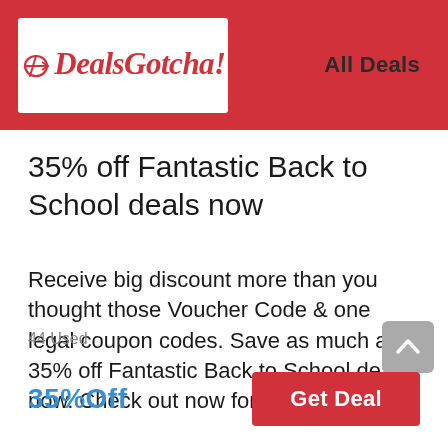DealsGotcha! | All Deals
35% off Fantastic Back to School deals now
Receive big discount more than you thought those Voucher Code & one legal coupon codes. Save as much as 35% off Fantastic Back to School deals now. Check out now for super savings!
44 Used
35%Off
Get Deal